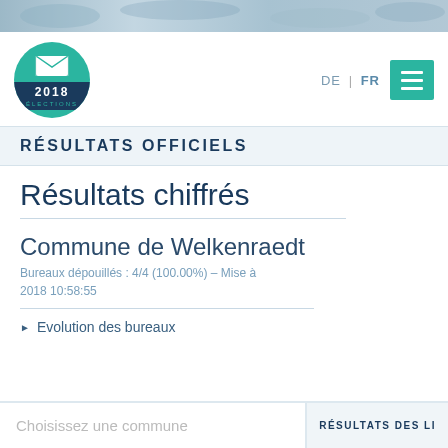[Figure (illustration): Banner strip with blurred crowd/building image at top of page]
[Figure (logo): 2018 Elections circular teal logo with envelope icon and dark navy band showing '2018 ÉLECTIONS']
RÉSULTATS OFFICIELS
Résultats chiffrés
Commune de Welkenraedt
Bureaux dépouillés : 4/4 (100.00%) – Mise à 2018 10:58:55
Evolution des bureaux
Choisissez une commune
RÉSULTATS DES LI